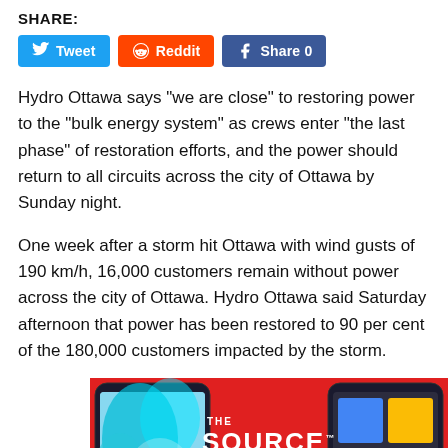SHARE:
[Figure (other): Social share buttons: Tweet (Twitter/blue), Reddit (orange), Share 0 (Facebook/blue)]
Hydro Ottawa says "we are close" to restoring power to the "bulk energy system" as crews enter "the last phase" of restoration efforts, and the power should return to all circuits across the city of Ottawa by Sunday night.
One week after a storm hit Ottawa with wind gusts of 190 km/h, 16,000 customers remain without power across the city of Ottawa. Hydro Ottawa said Saturday afternoon that power has been restored to 90 per cent of the 180,000 customers impacted by the storm.
[Figure (other): Advertisement for The Source electronics retailer on red background with smartphones and text 'Check out our amazing']